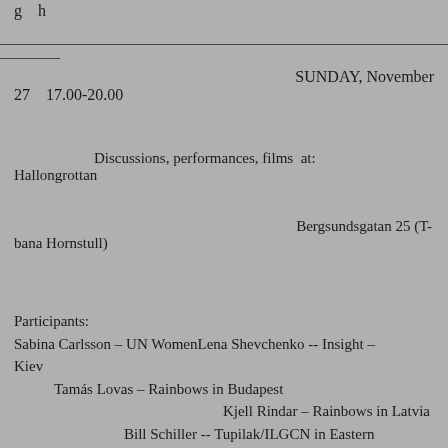g  h
SUNDAY, November 27   17.00-20.00
Discussions, performances, films  at: Hallongrottan
Bergsundsgatan 25 (T-bana Hornstull)
Participants:
Sabina Carlsson – UN WomenLena Shevchenko -- Insight – Kiev
    Tamás Lovas – Rainbows in Budapest
                           Kjell Rindar – Rainbows in Latvia
              Bill Schiller -- Tupilak/ILGCN in Eastern Europe